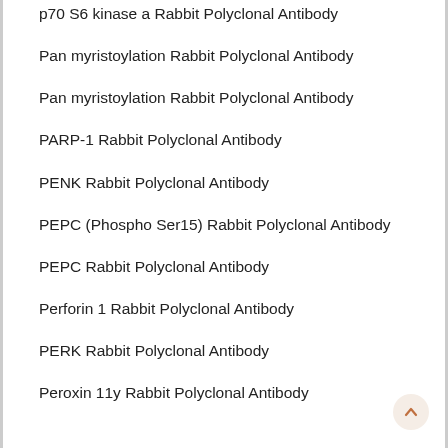p70 S6 kinase a Rabbit Polyclonal Antibody
Pan myristoylation Rabbit Polyclonal Antibody
Pan myristoylation Rabbit Polyclonal Antibody
PARP-1 Rabbit Polyclonal Antibody
PENK Rabbit Polyclonal Antibody
PEPC (Phospho Ser15) Rabbit Polyclonal Antibody
PEPC Rabbit Polyclonal Antibody
Perforin 1 Rabbit Polyclonal Antibody
PERK Rabbit Polyclonal Antibody
Peroxin 11y Rabbit Polyclonal Antibody